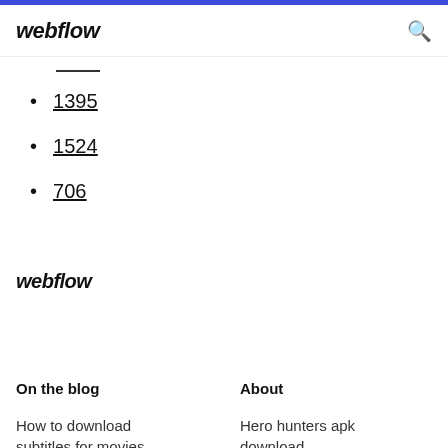webflow
1395
1524
706
webflow
On the blog
About
How to download subtitles for movies
Hero hunters apk download